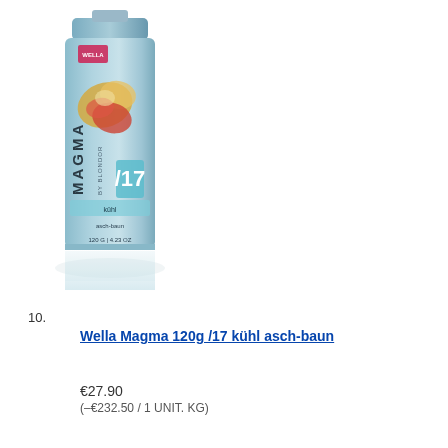[Figure (photo): Wella Magma by Blondor /17 hair color product in a teal/silver canister, 120g, with colorful coral/gold splash design on front. Product shown with reflection on white background.]
10.
Wella Magma 120g /17 kühl asch-baun
€27.90
(–€232.50 / 1 UNIT. KG)